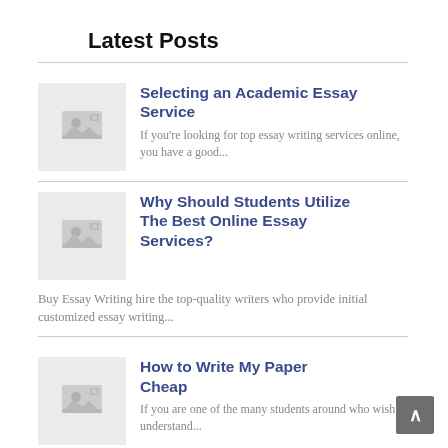Latest Posts
Selecting an Academic Essay Service — If you're looking for top essay writing services online, you have a good...
Why Should Students Utilize The Best Online Essay Services? — Buy Essay Writing hire the top-quality writers who provide initial customized essay writing...
How to Write My Paper Cheap — If you are one of the many students around who wish to understand...